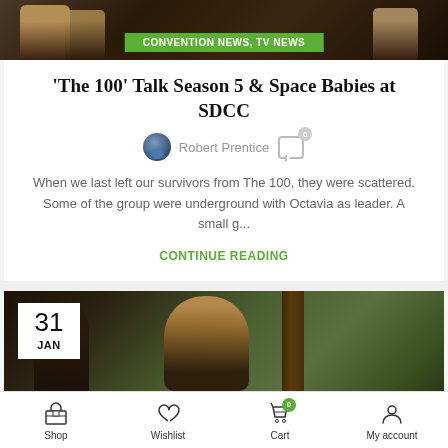[Figure (photo): Dark fantasy TV show cast photo at the top of the article page]
CONVENTION NEWS, TV NEWS
'The 100' Talk Season 5 & Space Babies at SDCC
Robert Prentice
When we last left our survivors from The 100, they were scattered. Some of the group were underground with Octavia as leader. A small g...
CONTINUE READING
[Figure (photo): Two characters from The 100 in a forest scene, date badge showing 31 JAN]
Shop  Wishlist  Cart  My account